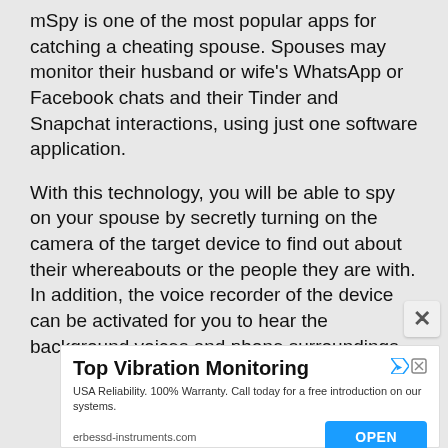mSpy is one of the most popular apps for catching a cheating spouse. Spouses may monitor their husband or wife's WhatsApp or Facebook chats and their Tinder and Snapchat interactions, using just one software application.
With this technology, you will be able to spy on your spouse by secretly turning on the camera of the target device to find out about their whereabouts or the people they are with. In addition, the voice recorder of the device can be activated for you to hear the background voices and phone surroundings.
[Figure (screenshot): Advertisement banner for Top Vibration Monitoring by erbessd-instruments.com with an OPEN button]